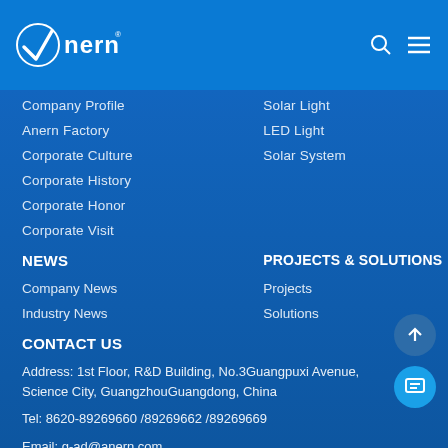[Figure (logo): Anern company logo in white on blue header bar]
Company Profile
Anern Factory
Corporate Culture
Corporate History
Corporate Honor
Corporate Visit
Solar Light
LED Light
Solar System
NEWS
PROJECTS & SOLUTIONS
Company News
Industry News
Projects
Solutions
CONTACT US
Address: 1st Floor, R&D Building, No.3Guangpuxi Avenue, Science City, GuangzhouGuangdong, China
Tel: 8620-89269660 /89269662 /89269669
Email: g-ad@anern.com